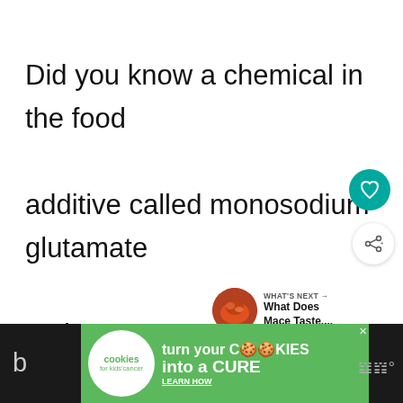Did you know a chemical in the food additive called monosodium glutamate makes your taste buds think fifth basic taste, alongside salty, sweet, sour, and
[Figure (screenshot): Heart (favorite) button — teal circular button with white heart icon]
[Figure (screenshot): Share button — white circular button with share icon and plus sign]
[Figure (screenshot): What's Next panel with food image thumbnail and text 'What Does Mace Taste...']
[Figure (screenshot): Advertisement banner: 'cookies for kids cancer — turn your COOKIES into a CURE LEARN HOW' on green background]